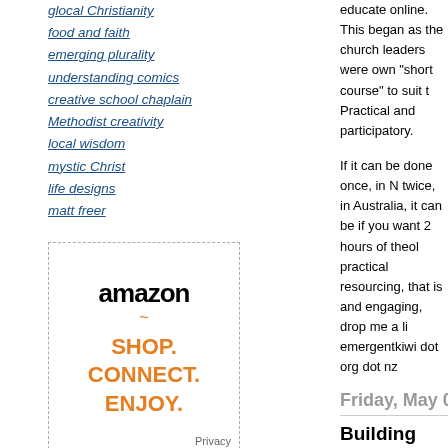glocal Christianity
food and faith
emerging plurality
understanding comics
creative school chaplain
Methodist creativity
local wisdom
mystic Christ
life designs
matt freer
[Figure (other): Amazon ad: SHOP. CONNECT. ENJOY. with Privacy link]
[Figure (logo): Creative Commons license badge: Some Rights Reserved]
This weblog is licensed under a Creative Commons License.
educate online. This began as the church leaders were own "short course" to suit t Practical and participatory.
If it can be done once, in N twice, in Australia, it can be if you want 2 hours of theol practical resourcing, that is and engaging, drop me a li emergentkiwi dot org dot nz
Friday, May 08, 202
Building community participation online
During lockdown, in order to church, I've found myself of of online input on building c increasing participation onli courses – a KCML experim